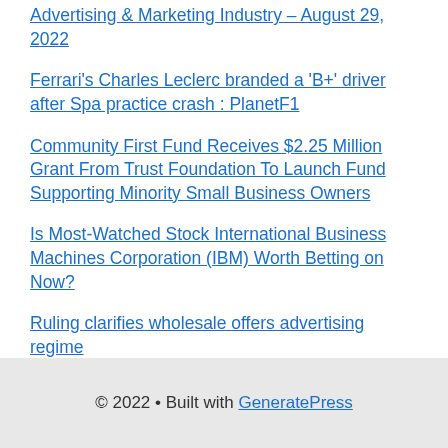Advertising & Marketing Industry – August 29, 2022
Ferrari's Charles Leclerc branded a 'B+' driver after Spa practice crash : PlanetF1
Community First Fund Receives $2.25 Million Grant From Trust Foundation To Launch Fund Supporting Minority Small Business Owners
Is Most-Watched Stock International Business Machines Corporation (IBM) Worth Betting on Now?
Ruling clarifies wholesale offers advertising regime
© 2022 • Built with GeneratePress